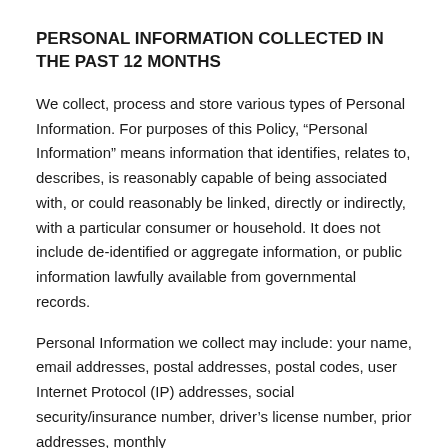PERSONAL INFORMATION COLLECTED IN THE PAST 12 MONTHS
We collect, process and store various types of Personal Information.  For purposes of this Policy, “Personal Information” means information that identifies, relates to, describes, is reasonably capable of being associated with, or could reasonably be linked, directly or indirectly, with a particular consumer or household.  It does not include de-identified or aggregate information, or public information lawfully available from governmental records.
Personal Information we collect may include:  your name, email addresses, postal addresses, postal codes, user Internet Protocol (IP) addresses, social security/insurance number, driver’s license number, prior addresses, monthly